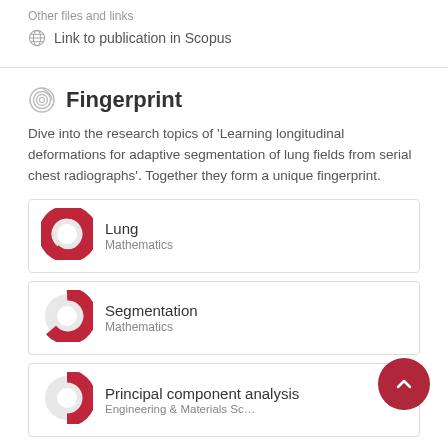Other files and links
Link to publication in Scopus
Fingerprint
Dive into the research topics of 'Learning longitudinal deformations for adaptive segmentation of lung fields from serial chest radiographs'. Together they form a unique fingerprint.
[Figure (infographic): Donut chart icon for Lung - Mathematics topic, nearly full red circle]
Lung
Mathematics
[Figure (infographic): Donut chart icon for Segmentation - Mathematics topic, mostly red with small white gap]
Segmentation
Mathematics
[Figure (infographic): Donut chart icon for Principal component analysis - Engineering & Materials Science topic, partially filled]
Principal component analysis
Engineering & Materials Science